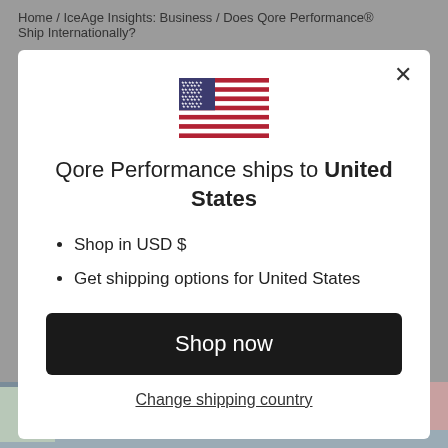Home / IceAge Insights: Business / Does Qore Performance® Ship Internationally?
[Figure (illustration): US flag icon displayed in modal dialog]
Qore Performance ships to United States
Shop in USD $
Get shipping options for United States
Shop now
Change shipping country
[Figure (photo): Express delivery van parked on a street, partially visible at the bottom of the page]